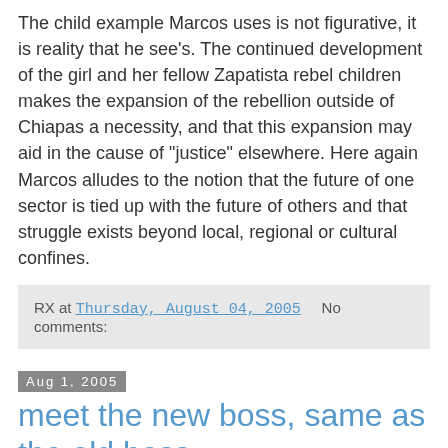The child example Marcos uses is not figurative, it is reality that he see's. The continued development of the girl and her fellow Zapatista rebel children makes the expansion of the rebellion outside of Chiapas a necessity, and that this expansion may aid in the cause of "justice" elsewhere. Here again Marcos alludes to the notion that the future of one sector is tied up with the future of others and that struggle exists beyond local, regional or cultural confines.
RX at Thursday, August 04, 2005    No comments:
Aug 1, 2005
meet the new boss, same as the old boss
[Figure (photo): Photo of The Sun newspaper front page showing headlines about Jordan and Carmen with 'IT'S OVER' text visible]